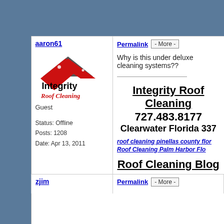aaron61
[Figure (logo): Integrity Roof Cleaning logo with red and gray roof graphic]
Guest
Status: Offline
Posts: 1208
Date: Apr 13, 2011
Permalink  - More -
Why is this under deluxe cleaning systems??
Integrity Roof Cleaning
727.483.8177
Clearwater Florida 337
roof cleaning pinellas county flor
Roof Cleaning Palm Harbor Flo
Roof Cleaning Blog
zjim
Permalink  - More -